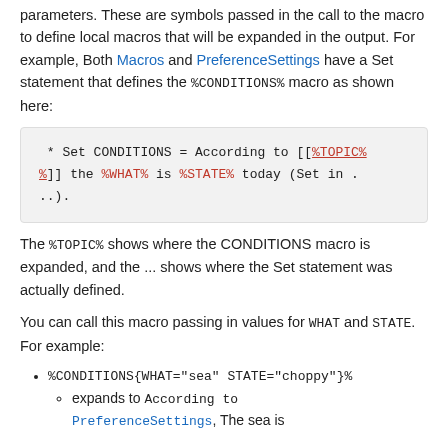parameters. These are symbols passed in the call to the macro to define local macros that will be expanded in the output. For example, Both Macros and PreferenceSettings have a Set statement that defines the %CONDITIONS% macro as shown here:
* Set CONDITIONS = According to [[%TOPIC%]] the %WHAT% is %STATE% today (Set in ...).
The %TOPIC% shows where the CONDITIONS macro is expanded, and the ... shows where the Set statement was actually defined.
You can call this macro passing in values for WHAT and STATE. For example:
%CONDITIONS{WHAT="sea" STATE="choppy"}%
expands to According to PreferenceSettings, The sea is